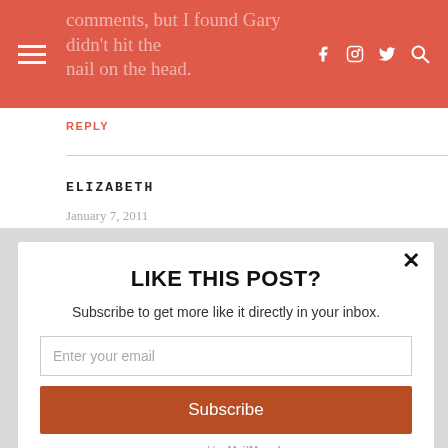comments, but I found Gary didn't hit the nail on the head.
REPLY
ELIZABETH
January 7, 2011
LIKE THIS POST?
Subscribe to get more like it directly in your inbox.
Enter your email
Subscribe
powered by MailMunch